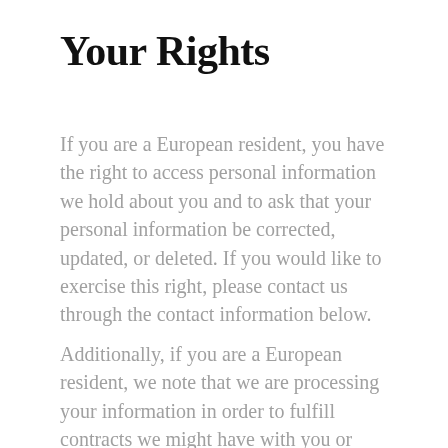Your Rights
If you are a European resident, you have the right to access personal information we hold about you and to ask that your personal information be corrected, updated, or deleted. If you would like to exercise this right, please contact us through the contact information below.
Additionally, if you are a European resident, we note that we are processing your information in order to fulfill contracts we might have with you or otherwise to pursue our legitimate business